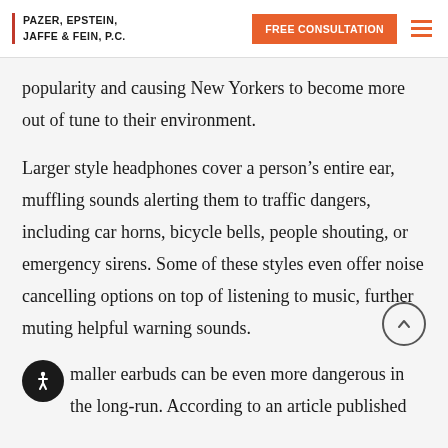PAZER, EPSTEIN, JAFFE & FEIN, P.C. | FREE CONSULTATION
popularity and causing New Yorkers to become more out of tune to their environment.
Larger style headphones cover a person’s entire ear, muffling sounds alerting them to traffic dangers, including car horns, bicycle bells, people shouting, or emergency sirens. Some of these styles even offer noise cancelling options on top of listening to music, further muting helpful warning sounds.
Smaller earbuds can be even more dangerous in the long-run. According to an article published